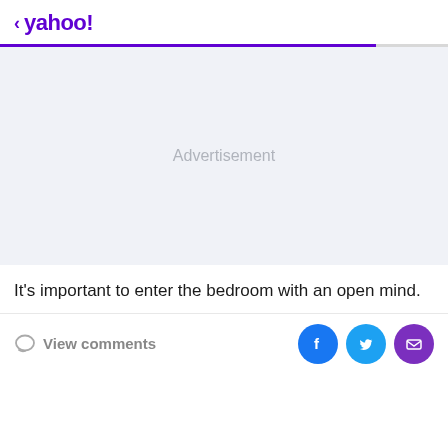< yahoo!
[Figure (other): Advertisement placeholder area with light grey-blue background and centered 'Advertisement' label text]
It's important to enter the bedroom with an open mind.
View comments
[Figure (other): Social share icons: Facebook (blue circle), Twitter (cyan circle), Mail (purple circle)]